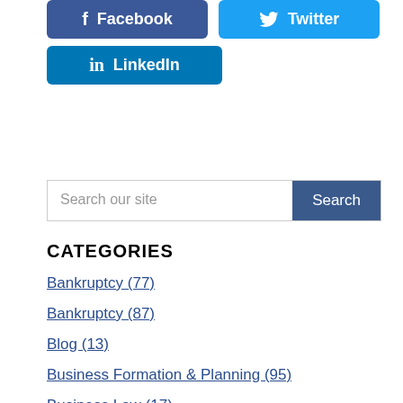[Figure (infographic): Facebook social share button (dark blue with f icon and text 'Facebook')]
[Figure (infographic): Twitter social share button (light blue with bird icon and text 'Twitter')]
[Figure (infographic): LinkedIn social share button (medium blue with in icon and text 'LinkedIn')]
Search our site
CATEGORIES
Bankruptcy (77)
Bankruptcy (87)
Blog (13)
Business Formation & Planning (95)
Business Law (17)
Business Law (65)